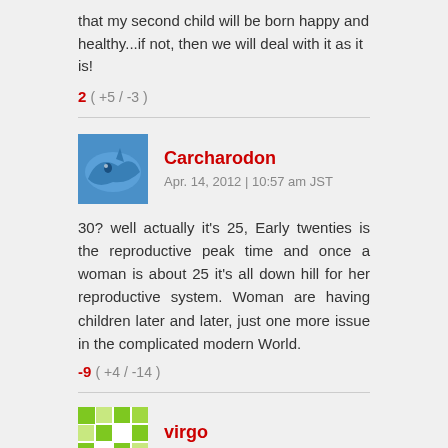that my second child will be born happy and healthy...if not, then we will deal with it as it is!
2 ( +5 / -3 )
Carcharodon
Apr. 14, 2012 | 10:57 am JST
30? well actually it's 25, Early twenties is the reproductive peak time and once a woman is about 25 it's all down hill for her reproductive system. Woman are having children later and later, just one more issue in the complicated modern World.
-9 ( +4 / -14 )
virgo
Apr. 14, 2012 | 11:00 am JST
I know this is a very sensitive issue to women but he is spot on...sorry if you don't like it. He is being specific to JAPAN. In Japan women over 30's have more complications